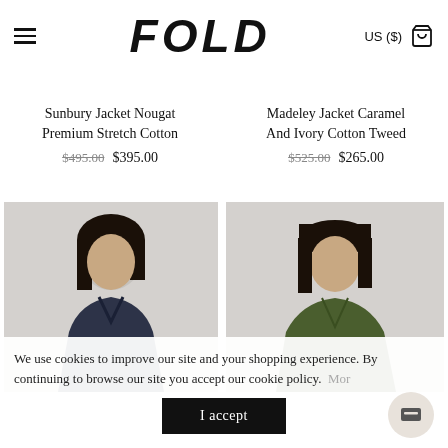FOLD — US ($)
Sunbury Jacket Nougat Premium Stretch Cotton
$495.00 $395.00
Madeley Jacket Caramel And Ivory Cotton Tweed
$525.00 $265.00
[Figure (photo): Woman in navy jacket, dark hair, light background]
[Figure (photo): Woman in olive/green jacket, dark hair with bangs, light background]
We use cookies to improve our site and your shopping experience. By continuing to browse our site you accept our cookie policy.  More
I accept